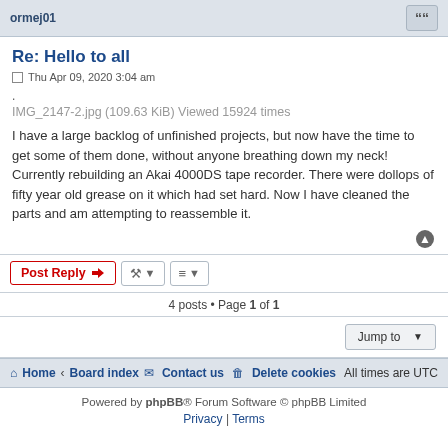ormej01
Re: Hello to all
Thu Apr 09, 2020 3:04 am
.
IMG_2147-2.jpg (109.63 KiB) Viewed 15924 times
I have a large backlog of unfinished projects, but now have the time to get some of them done, without anyone breathing down my neck! Currently rebuilding an Akai 4000DS tape recorder. There were dollops of fifty year old grease on it which had set hard. Now I have cleaned the parts and am attempting to reassemble it.
4 posts • Page 1 of 1
Jump to
Home · Board index   Contact us   Delete cookies   All times are UTC
Powered by phpBB® Forum Software © phpBB Limited
Privacy | Terms